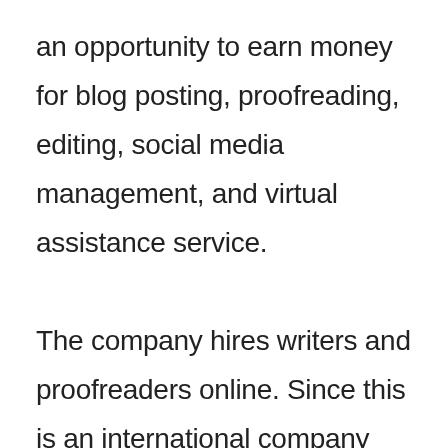an opportunity to earn money for blog posting, proofreading, editing, social media management, and virtual assistance service. The company hires writers and proofreaders online. Since this is an international company people from all over the world can join Paid Forum.